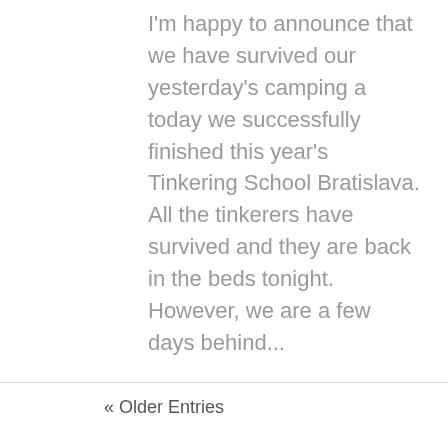I'm happy to announce that we have survived our yesterday's camping a today we successfully finished this year's Tinkering School Bratislava. All the tinkerers have survived and they are back in the beds tonight. However, we are a few days behind...
« Older Entries
Podpora tvorivosti a kreatívneho myslenia vo všetkých jeho prejavoch a podobách, u detí aj dospelých - to je cieľom občianskeho združenia KreoLab. Táto stránka má slúžiť ako zdroj
[Figure (photo): Portrait photo of a man leaning on his arms outdoors with a sky background]